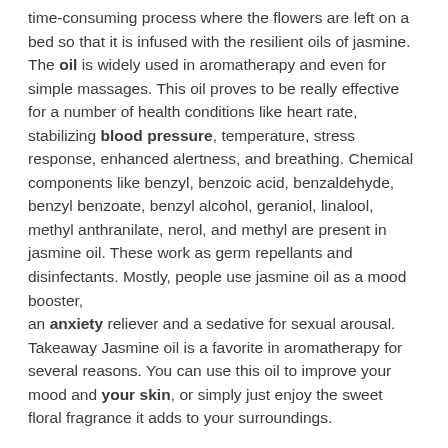time-consuming process where the flowers are left on a bed so that it is infused with the resilient oils of jasmine. The oil is widely used in aromatherapy and even for simple massages. This oil proves to be really effective for a number of health conditions like heart rate, stabilizing blood pressure, temperature, stress response, enhanced alertness, and breathing. Chemical components like benzyl, benzoic acid, benzaldehyde, benzyl benzoate, benzyl alcohol, geraniol, linalool, methyl anthranilate, nerol, and methyl are present in jasmine oil. These work as germ repellants and disinfectants. Mostly, people use jasmine oil as a mood booster, an anxiety reliever and a sedative for sexual arousal. Takeaway Jasmine oil is a favorite in aromatherapy for several reasons. You can use this oil to improve your mood and your skin, or simply just enjoy the sweet floral fragrance it adds to your surroundings.